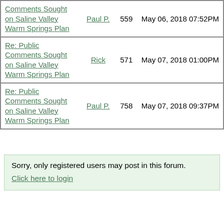| Topic | Author | Views | Date |
| --- | --- | --- | --- |
| Comments Sought on Saline Valley Warm Springs Plan | Paul P. | 559 | May 06, 2018 07:52PM |
| Re: Public Comments Sought on Saline Valley Warm Springs Plan | Rick | 571 | May 07, 2018 01:00PM |
| Re: Public Comments Sought on Saline Valley Warm Springs Plan | Paul P. | 758 | May 07, 2018 09:37PM |
Sorry, only registered users may post in this forum.
Click here to login